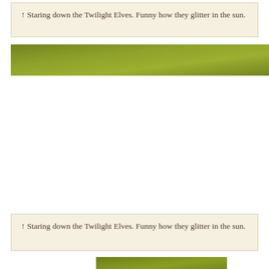↑ Staring down the Twilight Elves. Funny how they glitter in the sun.
[Figure (photo): A green textured banner/bar image, olive-green colored fabric or surface.]
↑ Staring down the Twilight Elves. Funny how they glitter in the sun.
[Figure (photo): A partial green bar/banner at the bottom of the page, olive-green colored.]